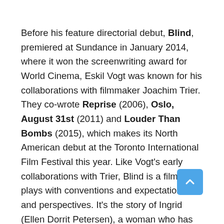Before his feature directorial debut, Blind, premiered at Sundance in January 2014, where it won the screenwriting award for World Cinema, Eskil Vogt was known for his collaborations with filmmaker Joachim Trier. They co-wrote Reprise (2006), Oslo, August 31st (2011) and Louder Than Bombs (2015), which makes its North American debut at the Toronto International Film Festival this year. Like Vogt's early collaborations with Trier, Blind is a film that plays with conventions and expectations and perspectives. It's the story of Ingrid (Ellen Dorrit Petersen), a woman who has recently become blind, adjusting to her new life. It's a film that demands close attention, and rewards it with playful storytelling and inventive associations that reverberate between the real and the imagined. The